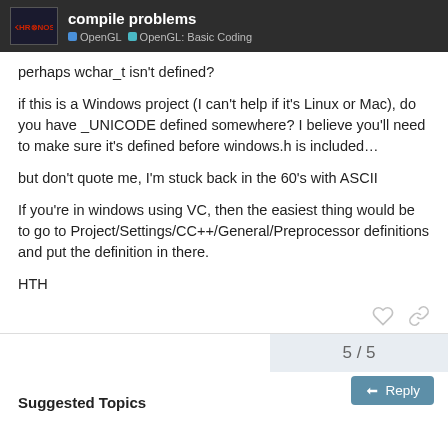compile problems | OpenGL | OpenGL: Basic Coding
perhaps wchar_t isn't defined?
if this is a Windows project (I can't help if it's Linux or Mac), do you have _UNICODE defined somewhere? I believe you'll need to make sure it's defined before windows.h is included...
but don't quote me, I'm stuck back in the 60's with ASCII
If you're in windows using VC, then the easiest thing would be to go to Project/Settings/CC++/General/Preprocessor definitions and put the definition in there.
HTH
5 / 5
Suggested Topics